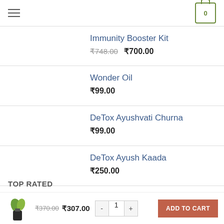Navigation header with hamburger menu and cart icon showing 0 items
Immunity Booster Kit ₹748.00 ₹700.00
Wonder Oil ₹99.00
DeTox Ayushvati Churna ₹99.00
DeTox Ayush Kaada ₹250.00
TOP RATED
₹370.00 ₹307.00 - 1 + ADD TO CART